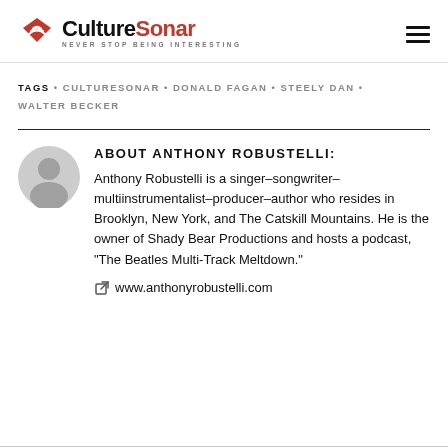CultureSonar NEVER STOP BEING INTERESTING
TAGS • CULTURESONAR • DONALD FAGAN • STEELY DAN • WALTER BECKER
ABOUT ANTHONY ROBUSTELLI:
Anthony Robustelli is a singer–songwriter–multiinstrumentalist–producer–author who resides in Brooklyn, New York, and The Catskill Mountains. He is the owner of Shady Bear Productions and hosts a podcast, "The Beatles Multi-Track Meltdown."
www.anthonyrobustelli.com